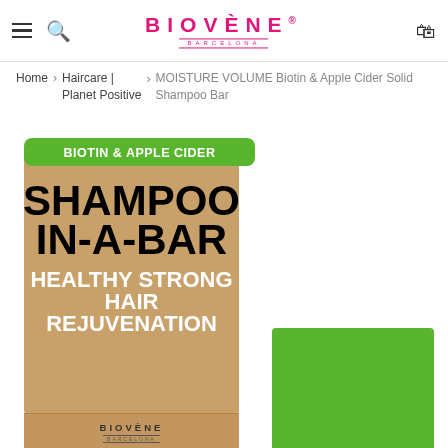BIOVÈNE BARCELONA
Home > Haircare | Planet Positive > MOISTURE VOLUME Biotin & Apple Cider Solid Shampoo Bar
[Figure (photo): Biovene Barcelona product page showing two items: a tan/kraft cardboard box of Biotin & Apple Cider Shampoo In-A-Bar with green label at top reading BIOTIN & APPLE CIDER and main text SHAMPOO IN-A-BAR HEALTHY STRONG HAIR REJUVENATION, below it a Moisture Volume Solid section with Biovene branding, and on the right a solid green soap bar with embossed BIOVENE text.]